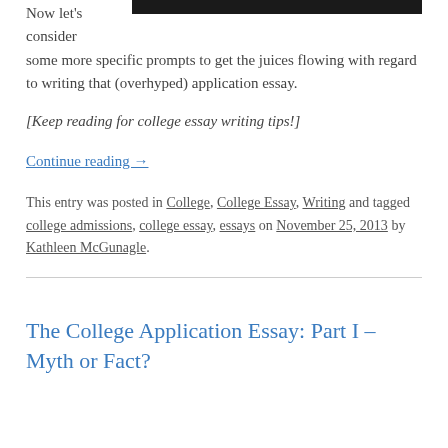[Figure (photo): Partial photo of a person, dark background, only top portion visible]
Now let's consider some more specific prompts to get the juices flowing with regard to writing that (overhyped) application essay.
[Keep reading for college essay writing tips!]
Continue reading →
This entry was posted in College, College Essay, Writing and tagged college admissions, college essay, essays on November 25, 2013 by Kathleen McGunagle.
The College Application Essay: Part I – Myth or Fact?